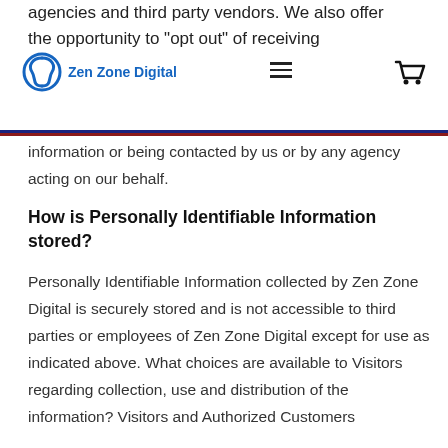agencies and third party vendors. We also offer the opportunity to "opt out" of receiving
[Figure (logo): Zen Zone Digital circular logo with Zen Zone Digital text and navigation icons]
information or being contacted by us or by any agency acting on our behalf.
How is Personally Identifiable Information stored?
Personally Identifiable Information collected by Zen Zone Digital is securely stored and is not accessible to third parties or employees of Zen Zone Digital except for use as indicated above. What choices are available to Visitors regarding collection, use and distribution of the information? Visitors and Authorized Customers